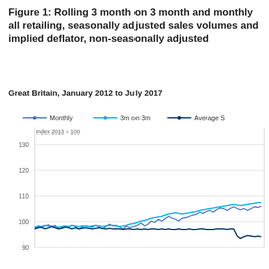Figure 1: Rolling 3 month on 3 month and monthly all retailing, seasonally adjusted sales volumes and implied deflator, non-seasonally adjusted
Great Britain, January 2012 to July 2017
[Figure (line-chart): Rolling 3 month on 3 month and monthly all retailing]